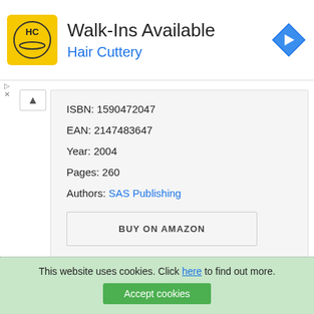[Figure (logo): Hair Cuttery advertisement banner with HC logo, title Walk-Ins Available, and navigation icon]
ISBN: 1590472047
EAN: 2147483647
Year: 2004
Pages: 260
Authors: SAS Publishing
BUY ON AMAZON
This website uses cookies. Click here to find out more. Accept cookies